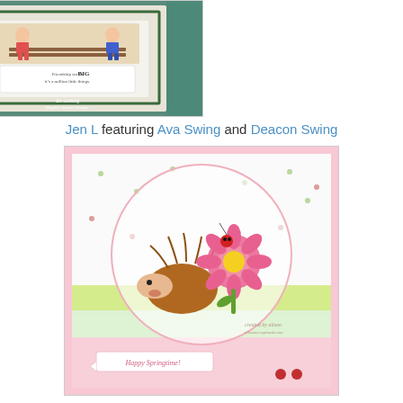[Figure (photo): Handmade greeting card showing two characters sitting on a bench with text 'Friendship isn't a BIG thing, it's a million little things.' Credited to Jen Leeflong, Bugaboo Stamps Designer.]
Jen L featuring Ava Swing  and Deacon Swing
[Figure (photo): Handmade spring greeting card featuring a hedgehog sniffing a large pink flower with a ladybug on top, set against a background with bees and butterflies pattern. Text reads 'Happy Springtime!' Created by Alison, alisonscrapbook.com.]